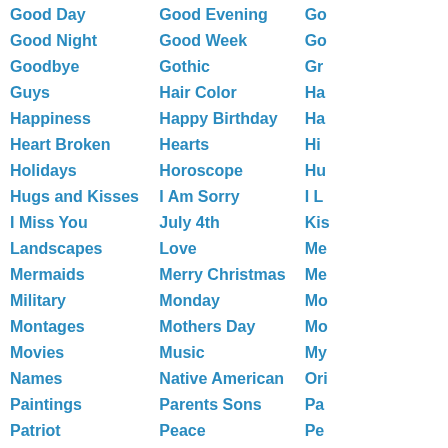Good Day
Good Night
Goodbye
Guys
Happiness
Heart Broken
Holidays
Hugs and Kisses
I Miss You
Landscapes
Mermaids
Military
Montages
Movies
Names
Paintings
Patriot
Photos
Postcards
Profiles
Romantic
Good Evening
Good Week
Gothic
Hair Color
Happy Birthday
Hearts
Horoscope
I Am Sorry
July 4th
Love
Merry Christmas
Monday
Mothers Day
Music
Native American
Parents Sons
Peace
Pimp
Posters
Quotes
Sadness